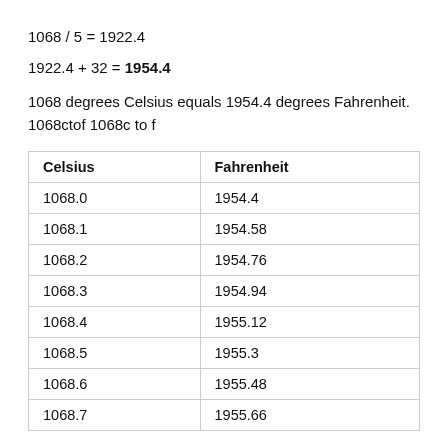1068 degrees Celsius equals 1954.4 degrees Fahrenheit.
1068ctof 1068c to f
| Celsius | Fahrenheit |
| --- | --- |
| 1068.0 | 1954.4 |
| 1068.1 | 1954.58 |
| 1068.2 | 1954.76 |
| 1068.3 | 1954.94 |
| 1068.4 | 1955.12 |
| 1068.5 | 1955.3 |
| 1068.6 | 1955.48 |
| 1068.7 | 1955.66 |